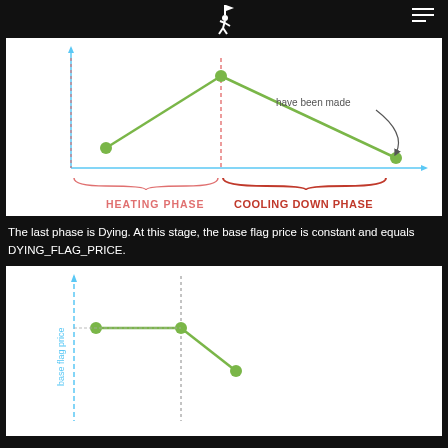[Figure (line-chart): Line chart showing base flag price over time with HEATING PHASE and COOLING DOWN PHASE labels. Two green data points during heating phase, one peak and one lower point during cooling down phase with annotation 'have been made'.]
The last phase is Dying. At this stage, the base flag price is constant and equals DYING_FLAG_PRICE.
[Figure (line-chart): Partial line chart showing base flag price axis (blue dashed vertical line, labeled 'base flag price') with green data points: two at same horizontal level then dropping, with a dotted vertical line dividing phases.]